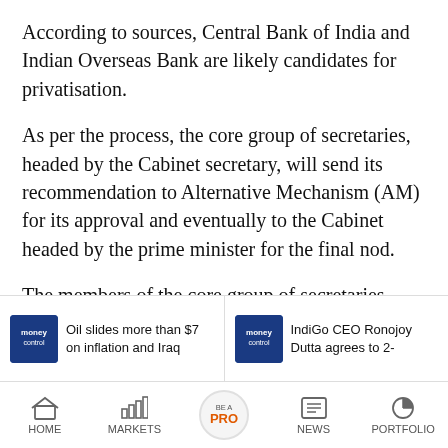According to sources, Central Bank of India and Indian Overseas Bank are likely candidates for privatisation.
As per the process, the core group of secretaries, headed by the Cabinet secretary, will send its recommendation to Alternative Mechanism (AM) for its approval and eventually to the Cabinet headed by the prime minister for the final nod.
The members of the core group of secretaries
Oil slides more than $7 on inflation and Iraq
IndiGo CEO Ronojoy Dutta agrees to 2-
HOME  MARKETS  BE A PRO  NEWS  PORTFOLIO